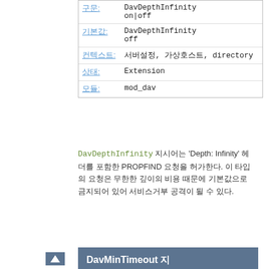| 구문: | DavDepthInfinity
on|off |
| 기본값: | DavDepthInfinity
off |
| 컨텍스트: | 서버설정, 가상호스트, directory |
| 상태: | Extension |
| 모듈: | mod_dav |
DavDepthInfinity 지시어는 'Depth: Infinity' 헤더를 포함한 PROPFIND 요청을 허가한다. 이 타입의 요청은 무한한 깊이의 비용 때문에 기본값으로 금지되어 있어 서비스거부 공격이 될 수 있다.
DavMinTimeout 지시어
| 설명: | 클라이언트 DAV 자원의 최소 제한시간 설정 |
| 구문: | DavMinTimeout seconds |
| 기본값: | DavMinTimeout 0 |